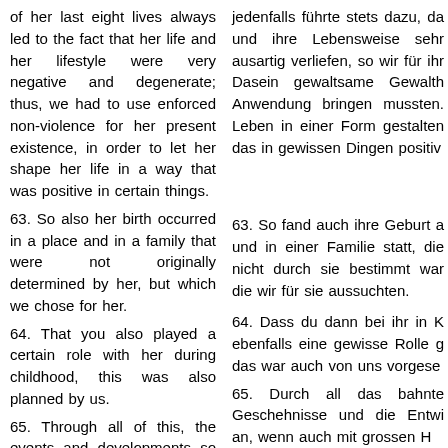of her last eight lives always led to the fact that her life and her lifestyle were very negative and degenerate; thus, we had to use enforced non-violence for her present existence, in order to let her shape her life in a way that was positive in certain things.
jedenfalls führte stets dazu, da und ihre Lebensweise sehr ausartig verliefen, so wir für ihr Dasein gewaltsame Gewalth Anwendung bringen mussten. Leben in einer Form gestalten das in gewissen Dingen positiv
63. So also her birth occurred in a place and in a family that were not originally determined by her, but which we chose for her.
63. So fand auch ihre Geburt a und in einer Familie statt, die nicht durch sie bestimmt war die wir für sie aussuchten.
64. That you also played a certain role with her during childhood, this was also planned by us.
64. Dass du dann bei ihr in K ebenfalls eine gewisse Rolle g das war auch von uns vorgese
65. Through all of this, the events and developments so made their way, albeit with
65. Durch all das bahnte Geschehnisse und die Entwi an, wenn auch mit grossen H